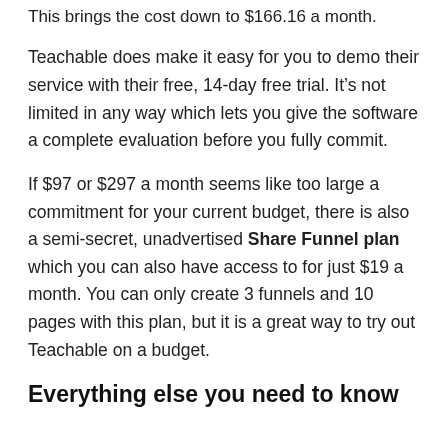This brings the cost down to $166.16 a month.
Teachable does make it easy for you to demo their service with their free, 14-day free trial. It’s not limited in any way which lets you give the software a complete evaluation before you fully commit.
If $97 or $297 a month seems like too large a commitment for your current budget, there is also a semi-secret, unadvertised Share Funnel plan which you can also have access to for just $19 a month. You can only create 3 funnels and 10 pages with this plan, but it is a great way to try out Teachable on a budget.
Everything else you need to know